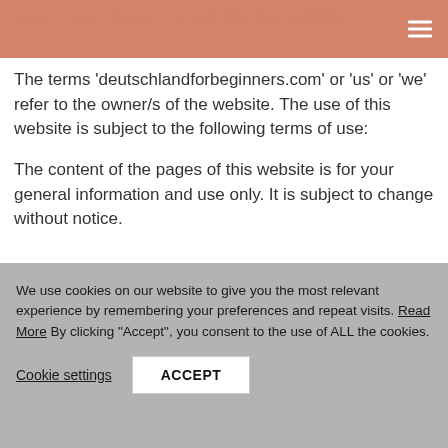conditions, please do not use our website.
The terms 'deutschlandforbeginners.com' or 'us' or 'we' refer to the owner/s of the website. The use of this website is subject to the following terms of use:
The content of the pages of this website is for your general information and use only. It is subject to change without notice.
We use cookies on our website to give you the most relevant experience by remembering your preferences and repeat visits. Read More By clicking "Accept", you consent to the use of ALL the cookies.